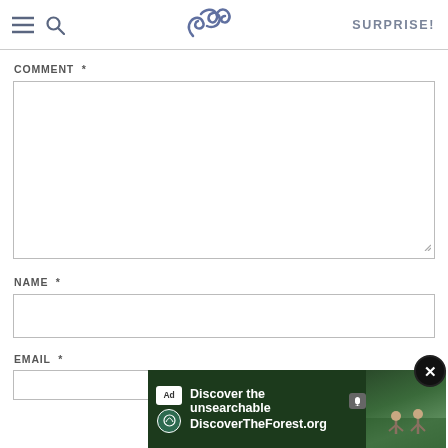SK — SURPRISE!
COMMENT *
[Figure (screenshot): Large empty comment textarea with resize handle at bottom-right]
NAME *
[Figure (screenshot): Empty single-line name input field]
EMAIL *
[Figure (screenshot): Ad overlay: Discover the unsearchable — DiscoverTheForest.org, with forest photo and close button]